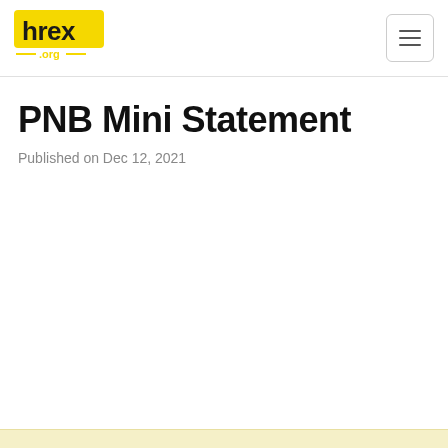hrex .org
PNB Mini Statement
Published on Dec 12, 2021